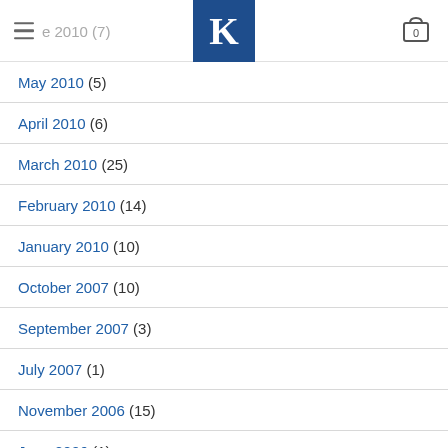e 2010 (7) [K logo] [cart 0]
May 2010 (5)
April 2010 (6)
March 2010 (25)
February 2010 (14)
January 2010 (10)
October 2007 (10)
September 2007 (3)
July 2007 (1)
November 2006 (15)
June 2006 (1)